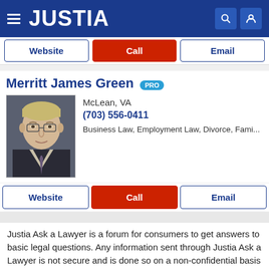JUSTIA
Website | Call | Email
Merritt James Green PRO
McLean, VA
(703) 556-0411
Business Law, Employment Law, Divorce, Fami...
Website | Call | Email
Justia Ask a Lawyer is a forum for consumers to get answers to basic legal questions. Any information sent through Justia Ask a Lawyer is not secure and is done so on a non-confidential basis only.
The use of this website to ask questions or receive answers does not create an attorney-client relationship between you